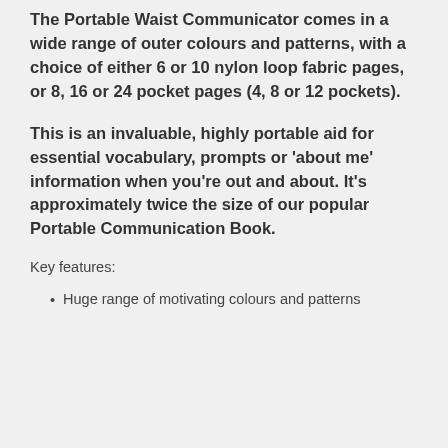The Portable Waist Communicator comes in a wide range of outer colours and patterns, with a choice of either 6 or 10 nylon loop fabric pages, or 8, 16 or 24 pocket pages (4, 8 or 12 pockets).
This is an invaluable, highly portable aid for essential vocabulary, prompts or 'about me' information when you're out and about. It's approximately twice the size of our popular Portable Communication Book.
Key features:
Huge range of motivating colours and patterns